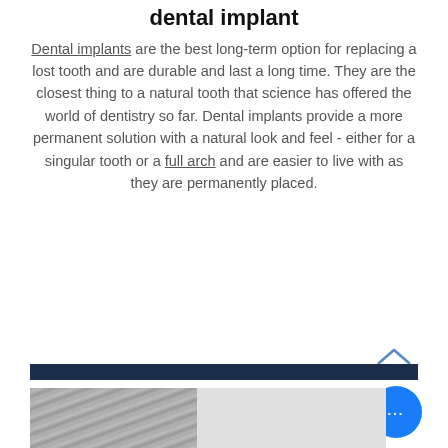dental implant
Dental implants are the best long-term option for replacing a lost tooth and are durable and last a long time. They are the closest thing to a natural tooth that science has offered the world of dentistry so far. Dental implants provide a more permanent solution with a natural look and feel - either for a singular tooth or a full arch and are easier to live with as they are permanently placed.
[Figure (other): Up arrow chevron icon in blue/steel color for scroll to top]
[Figure (other): Dark navy horizontal bar divider with blue chat bubble button showing ellipsis dots, and partial photo strip at bottom]
[Figure (photo): Partial bottom photo strip showing dental office or product imagery]